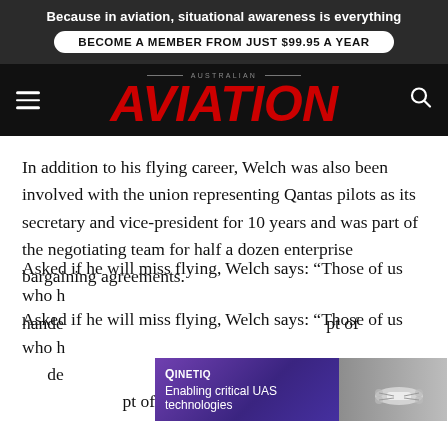Because in aviation, situational awareness is everything
BECOME A MEMBER FROM JUST $99.95 A YEAR
[Figure (logo): Australian Aviation magazine logo with red italic AVIATION text on dark background, hamburger menu icon on left and search icon on right]
In addition to his flying career, Welch was also been involved with the union representing Qantas pilots as its secretary and vice-president for 10 years and was part of the negotiating team for half a dozen enterprise bargaining agreements.
Asked if he will miss flying, Welch says: “Those of us who h… hande… pt of
[Figure (infographic): QinetiQ advertisement overlay: purple gradient background with text QINETIQ and Enabling critical UAS technologies, with drone imagery on right side]